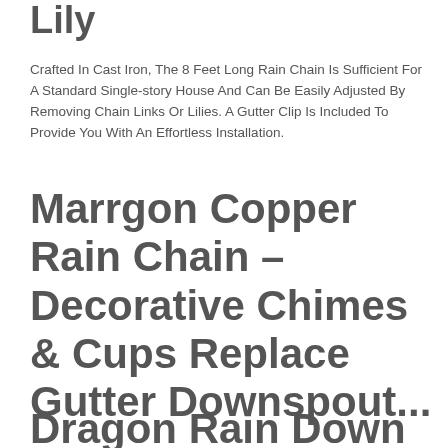Lily
Crafted In Cast Iron, The 8 Feet Long Rain Chain Is Sufficient For A Standard Single-story House And Can Be Easily Adjusted By Removing Chain Links Or Lilies. A Gutter Clip Is Included To Provide You With An Effortless Installation.
Marrgon Copper Rain Chain – Decorative Chimes & Cups Replace Gutter Downspout...
Dragon Rain Down